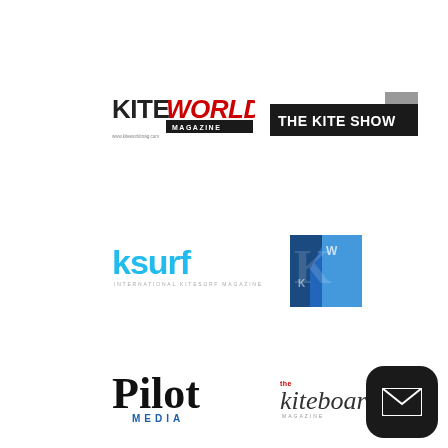[Figure (logo): KiteWorld Magazine logo — KITE in black bold, WORLD in red italic bold, MAGAZINE subtext in white on black background, website URL below]
[Figure (logo): THE KITE SHOW logo — white uppercase text on dark/black rectangular background with grey corner accent]
[Figure (logo): ksurf International Kitesurf Magazine logo — lowercase ksurf in light blue rounded bold font, INTERNATIONAL KITESURF MAGAZINE subtext in small grey caps below]
[Figure (logo): KW geometric logo — stylized K and W letters in blue tones, angular/geometric design]
[Figure (logo): Pilot Media logo — 'Pilot' in large black serif font, 'MEDIA' in blue spaced caps below]
[Figure (logo): Kiteboard magazine logo — 'kiteboard' in dark italic serif font with small red 'the' prefix, MAGAZINE subtext below]
[Figure (other): Dark rounded square email button icon in bottom-right corner]